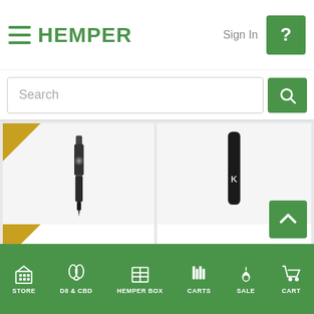HEMPER — Sign In
Search
[Figure (screenshot): DabTech Trio Nectar Collector product image]
DabTech - Trio Nect...   $ 109.99   $ 129.99
VIEW PRODUCT
[Figure (screenshot): KandyPens C-Box vaporizer product image]
KandyPens - C-Box...   $ 24.95
VIEW PRODUCT
STORE   D8 & CBD   HEMPER BOX   CARTS   SALE   CART